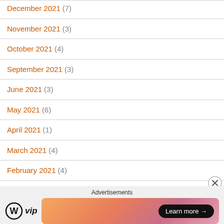December 2021 (7)
November 2021 (3)
October 2021 (4)
September 2021 (3)
June 2021 (3)
May 2021 (6)
April 2021 (1)
March 2021 (4)
February 2021 (4)
January 2021 (7)
December 2020 (8)
Advertisements
[Figure (other): WordPress VIP advertisement banner with Learn more button]